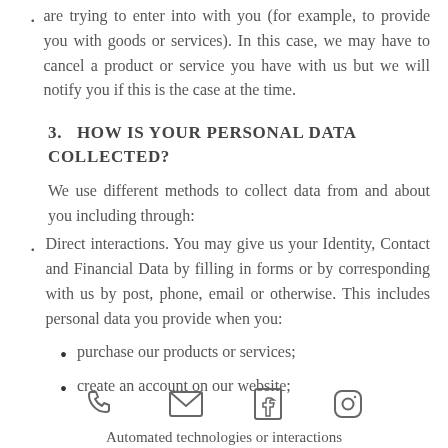are trying to enter into with you (for example, to provide you with goods or services). In this case, we may have to cancel a product or service you have with us but we will notify you if this is the case at the time.
3.  HOW IS YOUR PERSONAL DATA COLLECTED?
We use different methods to collect data from and about you including through:
Direct interactions. You may give us your Identity, Contact and Financial Data by filling in forms or by corresponding with us by post, phone, email or otherwise. This includes personal data you provide when you:
purchase our products or services;
create an account on our website;
[Figure (infographic): Footer icons: phone, email/envelope, Facebook, Instagram]
Automated technologies or interactions